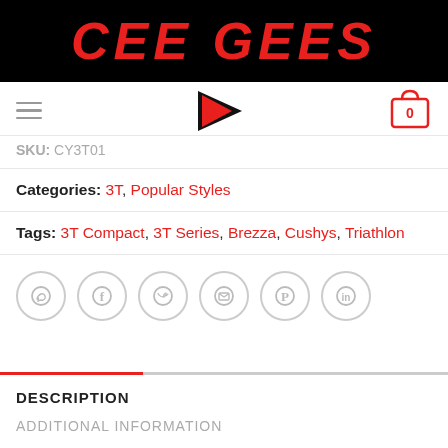CEE GEES
[Figure (logo): Navigation bar with hamburger menu, arrow logo, and shopping cart icon showing 0]
SKU: CY3T01
Categories: 3T, Popular Styles
Tags: 3T Compact, 3T Series, Brezza, Cushys, Triathlon
[Figure (infographic): Row of 6 circular social media share icons: WhatsApp, Facebook, Twitter, Email, Pinterest, LinkedIn]
DESCRIPTION
ADDITIONAL INFORMATION